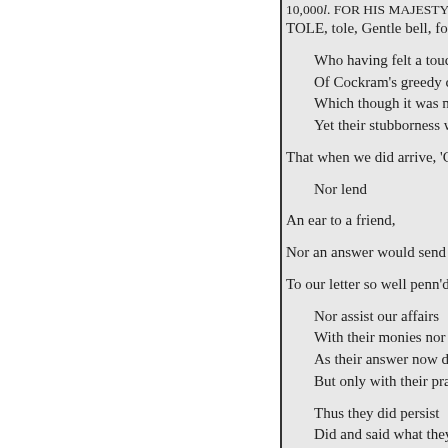10,000l. FOR HIS MAJESTY, m
TOLE, tole, Gentle bell, for th

Who having felt a touch
Of Cockram's greedy clutch
Which though it was not mu
Yet their stubborness was su

That when we did arrive, 'Gainst

    Nor lend

An ear to a friend,

Nor an answer would send

To our letter so well penn'd.

    Nor assist our affairs
    With their monies nor their
    As their answer now declar
    But only with their prayers.

    Thus they did persist
    Did and said what they list,
    Till the diet was dismist;
    But then our breech they ki